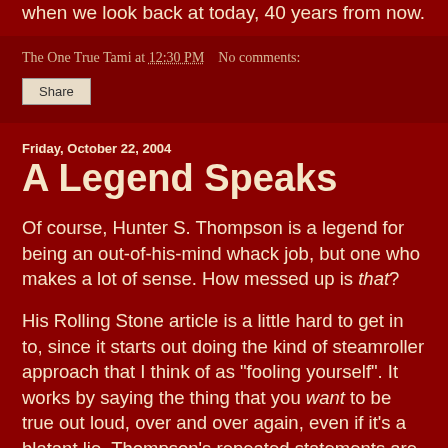when we look back at today, 40 years from now.
The One True Tami at 12:30 PM   No comments:
Share
Friday, October 22, 2004
A Legend Speaks
Of course, Hunter S. Thompson is a legend for being an out-of-his-mind whack job, but one who makes a lot of sense. How messed up is that?
His Rolling Stone article is a little hard to get in to, since it starts out doing the kind of steamroller approach that I think of as "fooling yourself". It works by saying the thing that you want to be true out loud, over and over again, even if it's a blatant lie. Thompson's repeated statements are too vigorous, too repeated, to one-sided - not admitting that your opponent has scored any points can be a dangerous